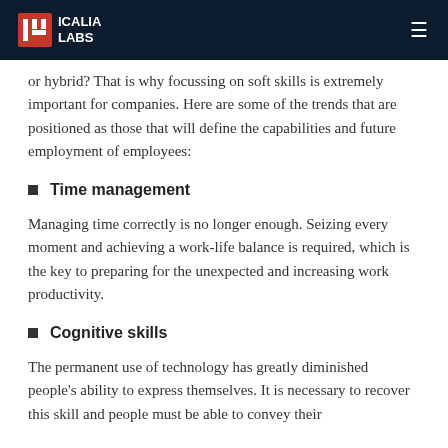ICALIA LABS
or hybrid? That is why focussing on soft skills is extremely important for companies. Here are some of the trends that are positioned as those that will define the capabilities and future employment of employees:
Time management
Managing time correctly is no longer enough. Seizing every moment and achieving a work-life balance is required, which is the key to preparing for the unexpected and increasing work productivity.
Cognitive skills
The permanent use of technology has greatly diminished people's ability to express themselves. It is necessary to recover this skill and people must be able to convey their